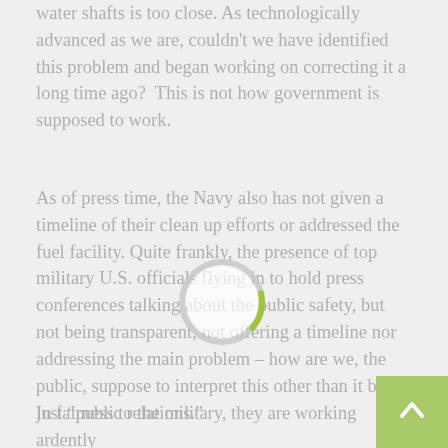water shafts is too close. As technologically advanced as we are, couldn't we have identified this problem and began working on correcting it a long time ago?  This is not how government is supposed to work.
As of press time, the Navy also has not given a timeline of their clean up efforts or addressed the fuel facility. Quite frankly, the presence of top military U.S. officials flying in to hold press conferences talking about the public safety, but not being transparent, not offering a timeline nor addressing the main problem – how are we, the public, suppose to interpret this other than it being just “public relations.”
In fairness to the military, they are working ardently